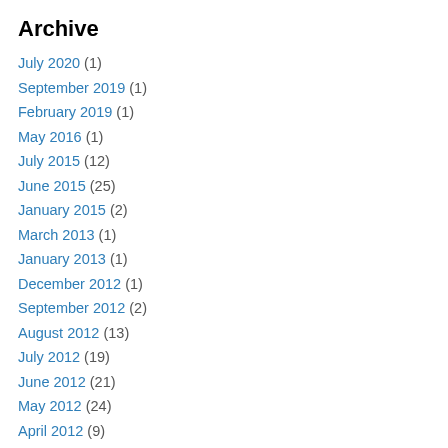Archive
July 2020 (1)
September 2019 (1)
February 2019 (1)
May 2016 (1)
July 2015 (12)
June 2015 (25)
January 2015 (2)
March 2013 (1)
January 2013 (1)
December 2012 (1)
September 2012 (2)
August 2012 (13)
July 2012 (19)
June 2012 (21)
May 2012 (24)
April 2012 (9)
March 2012 (5)
February 2012 (1)